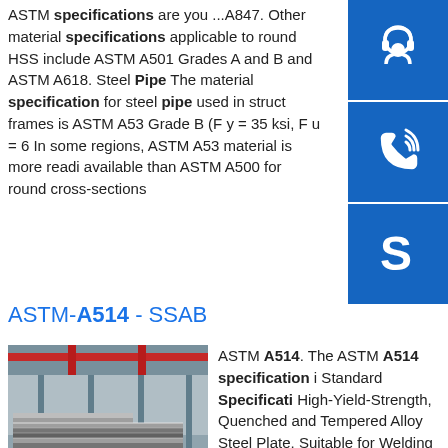ASTM specifications are you ...A847. Other material specifications applicable to round HSS include ASTM A501 Grades A and B and ASTM A618. Steel Pipe The material specification for steel pipe used in structural frames is ASTM A53 Grade B (F y = 35 ksi, F u = 6... In some regions, ASTM A53 material is more readily available than ASTM A500 for round cross-sections.
[Figure (illustration): Headset/support icon button (blue background, white icon)]
[Figure (illustration): Phone icon button (blue background, white icon)]
[Figure (illustration): Skype icon button (blue background, white icon)]
ASTM-A514 - SSAB
[Figure (photo): Interior of a steel warehouse with stacked steel plates on the floor]
ASTM A514. The ASTM A514 specification is Standard Specification for High-Yield-Strength, Quenched and Tempered Alloy Steel Plate, Suitable for Welding used in applications where Yield Strengths of ≥ 100 ksi are required for plates up to 2-1/2" thick, inclusive.sp.info ASTM - A514/A514M - Standard Specification for High-Yield ...standard